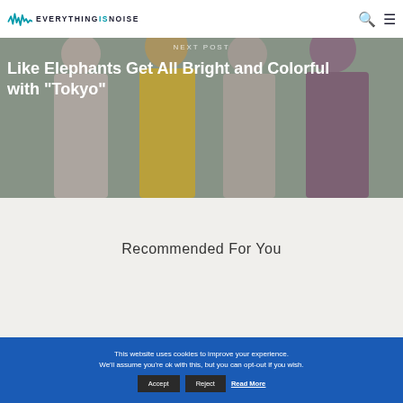EVERYTHING IS NOISE
Next Post
Like Elephants Get All Bright and Colorful with "Tokyo"
[Figure (photo): Four people standing together in a group photo, wearing casual t-shirts in white, yellow, beige, and purple/mauve colors]
Recommended For You
This website uses cookies to improve your experience. We'll assume you're ok with this, but you can opt-out if you wish. Accept Reject Read More